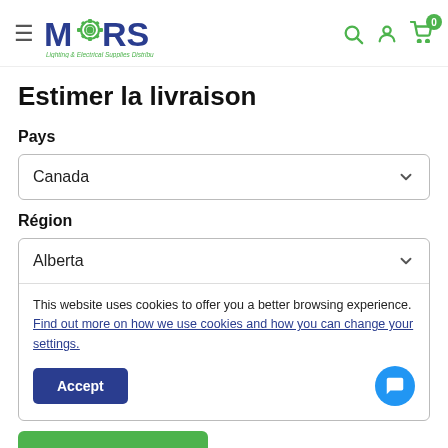[Figure (logo): MARS Lighting & Electrical Supplies Distribution logo with gear icon]
Estimer la livraison
Pays
Canada
Région
Alberta
This website uses cookies to offer you a better browsing experience. Find out more on how we use cookies and how you can change your settings.
Accept